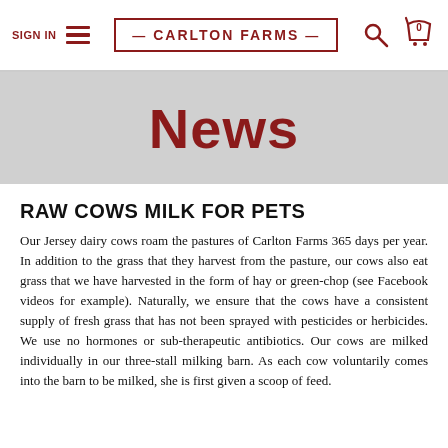SIGN IN  ≡  — CARLTON FARMS —  🔍  🛒 0
News
RAW COWS MILK FOR PETS
Our Jersey dairy cows roam the pastures of Carlton Farms 365 days per year. In addition to the grass that they harvest from the pasture, our cows also eat grass that we have harvested in the form of hay or green-chop (see Facebook videos for example). Naturally, we ensure that the cows have a consistent supply of fresh grass that has not been sprayed with pesticides or herbicides. We use no hormones or sub-therapeutic antibiotics. Our cows are milked individually in our three-stall milking barn. As each cow voluntarily comes into the barn to be milked, she is first given a scoop of feed.